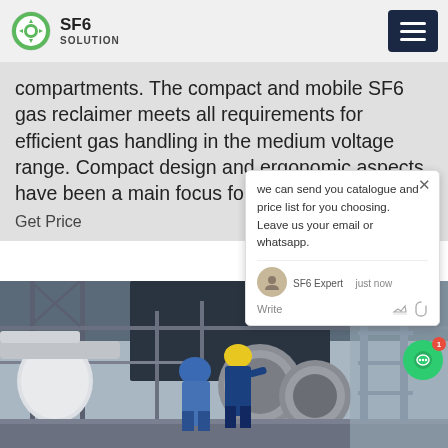SF6 SOLUTION
compartments. The compact and mobile SF6 gas reclaimer meets all requirements for efficient gas handling in the medium voltage range. Compact design and ergonomic aspects have been a main focus for its construction.
Get Price
[Figure (screenshot): Chat popup overlay showing message: 'we can send you catalogue and price list for you choosing. Leave us your email or whatsapp.' with SF6 Expert avatar, 'just now' timestamp, Write field with like and attachment icons, and close button.]
[Figure (photo): Industrial outdoor photo showing workers in hard hats (blue and yellow helmets) on scaffolding/platform servicing large industrial equipment, pipes, and flanges at what appears to be a power plant or substation.]